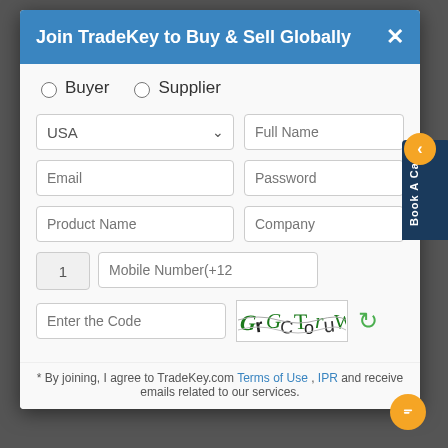Join TradeKey to Buy & Sell Globally
○Buyer  ○Supplier
[Figure (screenshot): Registration form with fields: USA country dropdown, Full Name, Email, Password, Product Name, Company, mobile prefix 1, Mobile Number(+12, Enter the Code input, CAPTCHA image showing 'GrGCToruW', and refresh button]
* By joining, I agree to TradeKey.com Terms of Use , IPR and receive emails related to our services.